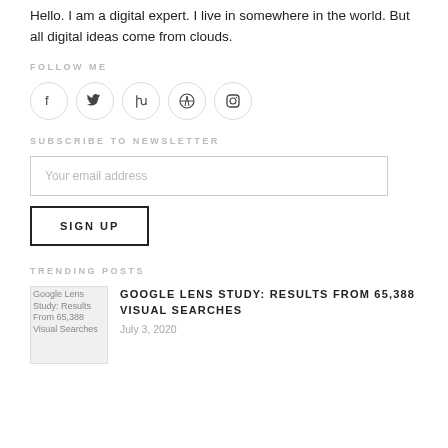Hello. I am a digital expert. I live in somewhere in the world. But all digital ideas come from clouds.
FOLLOW ME
[Figure (other): Row of five circular social media icons: Facebook, Twitter, Vine, Dribbble, Instagram]
SUBSCRIBE TO NEWSLETTER
Your email address
SIGN UP
TRENDING POSTS
GOOGLE LENS STUDY: RESULTS FROM 65,388 VISUAL SEARCHES
July 3, 2020